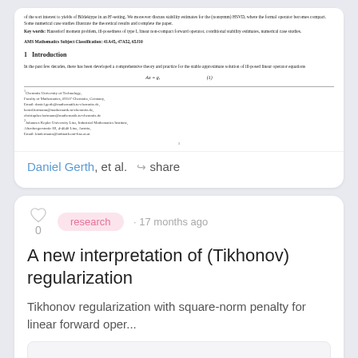[Figure (screenshot): Preview of a scientific paper page showing abstract, keywords, AMS classification, Introduction section heading, and beginning of introduction text with equation and footnotes.]
Daniel Gerth, et al. · share
research · 17 months ago
A new interpretation of (Tikhonov) regularization
Tikhonov regularization with square-norm penalty for linear forward oper...